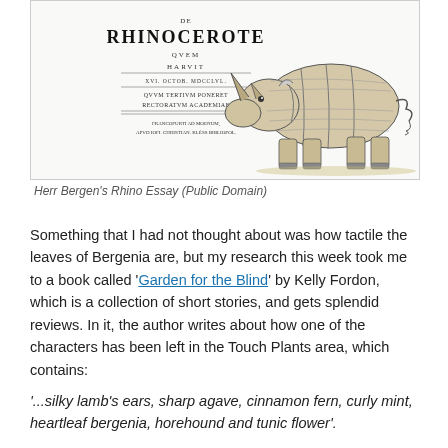[Figure (illustration): Title page of Herr Bergen's Rhino Essay showing text 'RHINOCEROTE' and a detailed engraving of a rhinoceros on the right side, with Latin text and publication details.]
Herr Bergen's Rhino Essay (Public Domain)
Something that I had not thought about was how tactile the leaves of Bergenia are, but my research this week took me to a book called 'Garden for the Blind' by Kelly Fordon, which is a collection of short stories, and gets splendid reviews. In it, the author writes about how one of the characters has been left in the Touch Plants area, which contains:
'...silky lamb's ears, sharp agave, cinnamon fern, curly mint, heartleaf bergenia, horehound and tunic flower'.